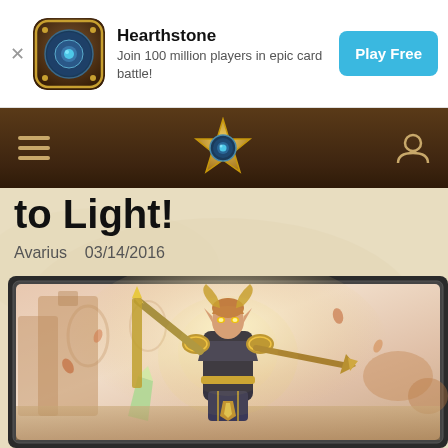[Figure (screenshot): Hearthstone app advertisement banner with icon, title, subtitle, and Play Free button]
[Figure (screenshot): Hearthstone website navigation bar with hamburger menu, gold star logo, and user icon]
to Light!
Avarius   03/14/2016
[Figure (illustration): Hearthstone card artwork showing a female blood elf paladin warrior with glowing eyes holding large swords, surrounded by golden fantasy scenery]